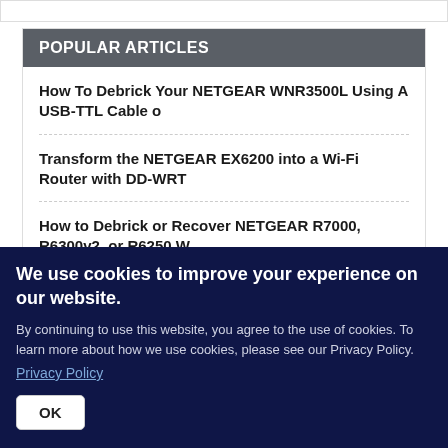POPULAR ARTICLES
How To Debrick Your NETGEAR WNR3500L Using A USB-TTL Cable o
Transform the NETGEAR EX6200 into a Wi-Fi Router with DD-WRT
How to Debrick or Recover NETGEAR R7000, R6300v2, or R6250 W
DD-WRT Kong Mod Info
We use cookies to improve your experience on our website.
By continuing to use this website, you agree to the use of cookies. To learn more about how we use cookies, please see our Privacy Policy.
Privacy Policy
OK